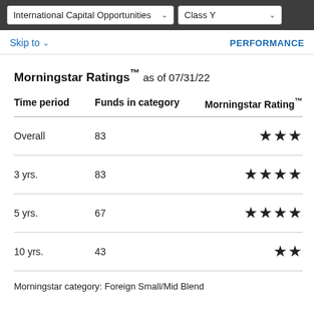International Capital Opportunities | Class Y
Skip to  |  PERFORMANCE
Morningstar Ratings™ as of 07/31/22
| Time period | Funds in category | Morningstar Rating™ |
| --- | --- | --- |
| Overall | 83 | ★★★ |
| 3 yrs. | 83 | ★★★★ |
| 5 yrs. | 67 | ★★★★ |
| 10 yrs. | 43 | ★★ |
Morningstar category: Foreign Small/Mid Blend